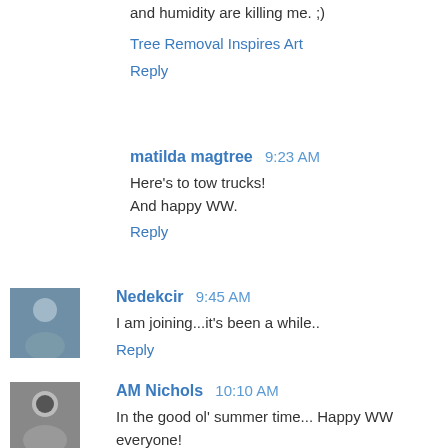and humidity are killing me. ;)
Tree Removal Inspires Art
Reply
matilda magtree  9:23 AM
Here's to tow trucks!
And happy WW.
Reply
Nedekcir  9:45 AM
I am joining...it's been a while..
Reply
AM Nichols  10:10 AM
In the good ol' summer time... Happy WW everyone!